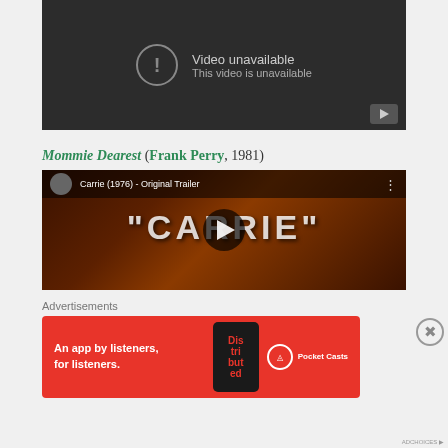[Figure (screenshot): YouTube video unavailable screen showing a dark gray background with an error icon and text 'Video unavailable / This video is unavailable']
Mommie Dearest (Frank Perry, 1981)
[Figure (screenshot): YouTube video thumbnail for 'Carrie (1976) - Original Trailer' with a dark reddish scene showing the word CARRIE and a play button overlay]
Advertisements
[Figure (other): Advertisement banner for Pocket Casts app: 'An app by listeners, for listeners.' on a red background with phone graphic and Pocket Casts logo]